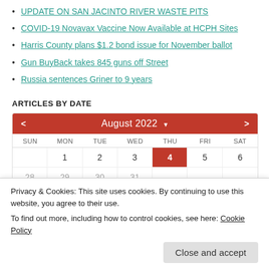UPDATE ON SAN JACINTO RIVER WASTE PITS
COVID-19 Novavax Vaccine Now Available at HCPH Sites
Harris County plans $1.2 bond issue for November ballot
Gun BuyBack takes 845 guns off Street
Russia sentences Griner to 9 years
ARTICLES BY DATE
[Figure (other): August 2022 calendar widget showing days of the week. Day 4 (Thursday) is highlighted in red.]
Privacy & Cookies: This site uses cookies. By continuing to use this website, you agree to their use.
To find out more, including how to control cookies, see here: Cookie Policy
Close and accept